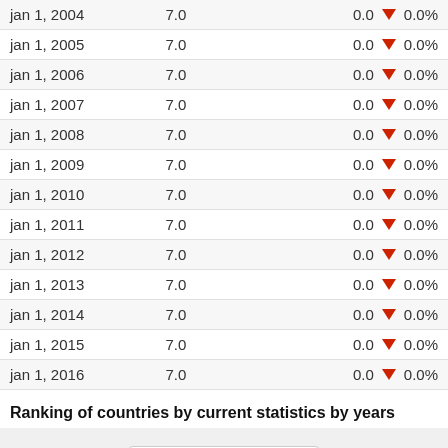| Date | Value | Change |
| --- | --- | --- |
| jan 1, 2004 | 7.0 | 0.0 ▼ 0.0% |
| jan 1, 2005 | 7.0 | 0.0 ▼ 0.0% |
| jan 1, 2006 | 7.0 | 0.0 ▼ 0.0% |
| jan 1, 2007 | 7.0 | 0.0 ▼ 0.0% |
| jan 1, 2008 | 7.0 | 0.0 ▼ 0.0% |
| jan 1, 2009 | 7.0 | 0.0 ▼ 0.0% |
| jan 1, 2010 | 7.0 | 0.0 ▼ 0.0% |
| jan 1, 2011 | 7.0 | 0.0 ▼ 0.0% |
| jan 1, 2012 | 7.0 | 0.0 ▼ 0.0% |
| jan 1, 2013 | 7.0 | 0.0 ▼ 0.0% |
| jan 1, 2014 | 7.0 | 0.0 ▼ 0.0% |
| jan 1, 2015 | 7.0 | 0.0 ▼ 0.0% |
| jan 1, 2016 | 7.0 | 0.0 ▼ 0.0% |
Ranking of countries by current statistics by years
2016
1  Germany   0